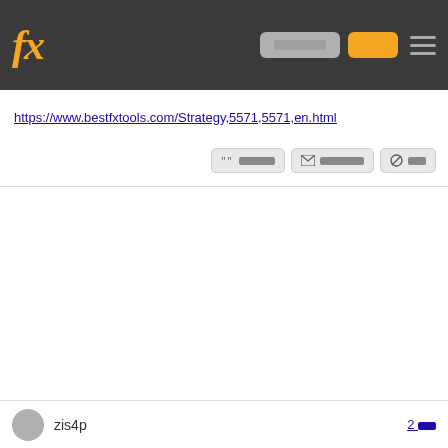fx [navigation bar with redacted buttons]
https://www.bestfxtools.com/Strategy,5571,5571,en.html
[action buttons: quote, email, block]
zis4p
2 [redacted]